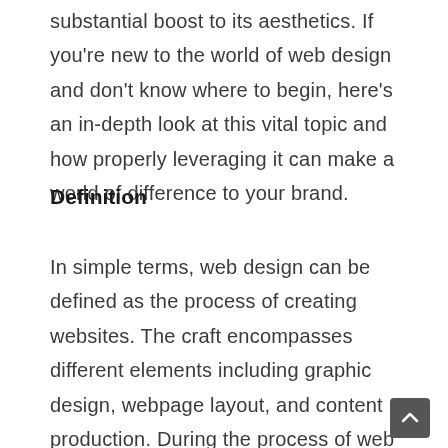substantial boost to its aesthetics. If you're new to the world of web design and don't know where to begin, here's an in-depth look at this vital topic and how properly leveraging it can make a world of difference to your brand.
Definition
In simple terms, web design can be defined as the process of creating websites. The craft encompasses different elements including graphic design, webpage layout, and content production. During the process of web designing, professionals usually use a markup language in collaboration with cascading style sheets (CSS) to determine the appearance and contents of every page on the site. Since some of the concepts